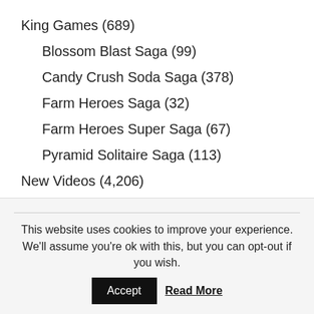King Games (689)
Blossom Blast Saga (99)
Candy Crush Soda Saga (378)
Farm Heroes Saga (32)
Farm Heroes Super Saga (67)
Pyramid Solitaire Saga (113)
New Videos (4,206)
Three in a Row (99)
Blossom Blast Saga (99)
Three Wins (119)
This website uses cookies to improve your experience. We'll assume you're ok with this, but you can opt-out if you wish.